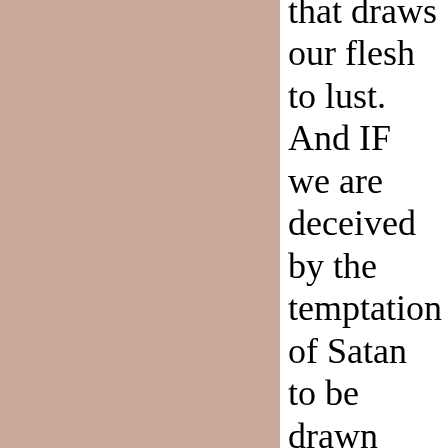that draws our flesh to lust. And IF we are deceived by the temptation of Satan to be drawn away by the lust of the WEAKNESS our FLESH, then that is